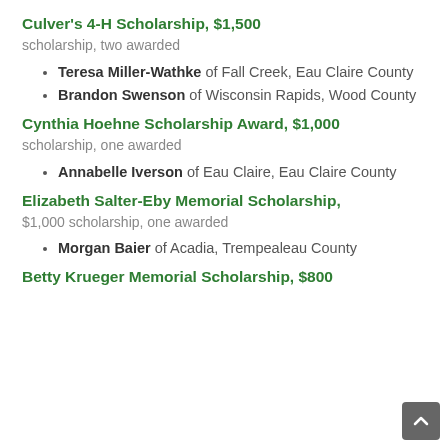Culver's 4-H Scholarship, $1,500
scholarship, two awarded
Teresa Miller-Wathke of Fall Creek, Eau Claire County
Brandon Swenson of Wisconsin Rapids, Wood County
Cynthia Hoehne Scholarship Award, $1,000
scholarship, one awarded
Annabelle Iverson of Eau Claire, Eau Claire County
Elizabeth Salter-Eby Memorial Scholarship,
$1,000 scholarship, one awarded
Morgan Baier of Acadia, Trempealeau County
Betty Krueger Memorial Scholarship, $800